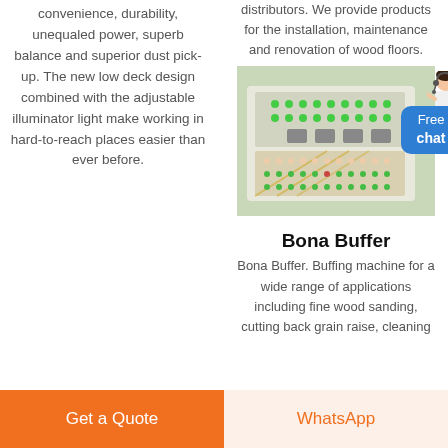convenience, durability, unequaled power, superb balance and superior dust pick-up. The new low deck design combined with the adjustable illuminator light make working in hard-to-reach places easier than ever before.
distributors. We provide products for the installation, maintenance and renovation of wood floors.
[Figure (photo): Photo of an industrial control panel with buttons and lights on a white machine.]
[Figure (illustration): Customer service avatar with chat button saying Free chat]
Bona Buffer
Bona Buffer. Buffing machine for a wide range of applications including fine wood sanding, cutting back grain raise, cleaning
Get a Quote
WhatsApp